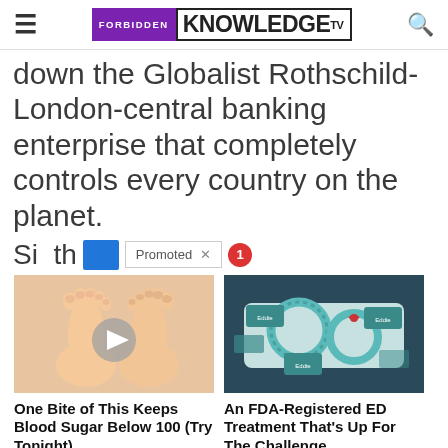FORBIDDEN KNOWLEDGE TV
down the Globalist Rothschild-London-central banking enterprise that completely controls every country on the planet.
Si...
[Figure (photo): Advertisement: Feet illustration with play button. Ad title: One Bite of This Keeps Blood Sugar Below 100 (Try Tonight). Button: Watch The Video]
[Figure (photo): Advertisement: Teal rings product photo. Ad title: An FDA-Registered ED Treatment That's Up For The Challenge. Button: Find Out More]